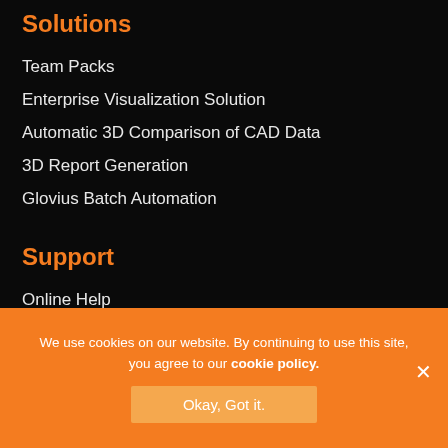Solutions
Team Packs
Enterprise Visualization Solution
Automatic 3D Comparison of CAD Data
3D Report Generation
Glovius Batch Automation
Support
Online Help
Video Tutorials
FAQs
We use cookies on our website. By continuing to use this site, you agree to our cookie policy.